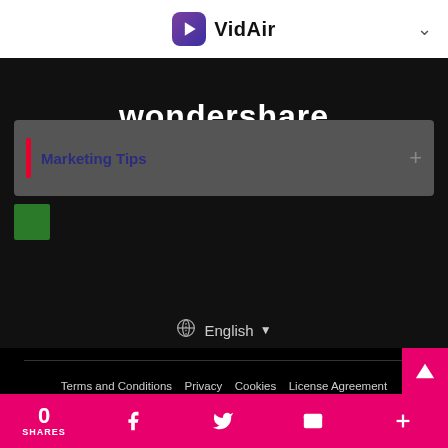VidAir
[Figure (logo): Wondershare logo with diamond shapes and wordmark 'wondershare', tagline 'Creativity simplified!']
Marketing Tips
🌐 English ▾
Terms and Conditions | Privacy | Cookies | License Agreement | Refund Policy | Uninstall
Copyright © 2022 Wondershare. All rights reserved. The order process, tax issue and invoicing to end user is conducted by Wondershare Technology Co., Ltd, which is the subsidiary of Wondershare group.
0 SHARES